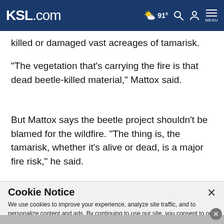KSL.com | 91° | Search | Account | MENU
killed or damaged vast acreages of tamarisk.
"The vegetation that's carrying the fire is that dead beetle-killed material," Mattox said.
But Mattox says the beetle project shouldn't be blamed for the wildfire. "The thing is, the tamarisk, whether it's alive or dead, is a major fire risk," he said.
Cookie Notice
We use cookies to improve your experience, analyze site traffic, and to personalize content and ads. By continuing to use our site, you consent to our use of cookies. Please visit our Terms of Use and Privacy Policy for more information.